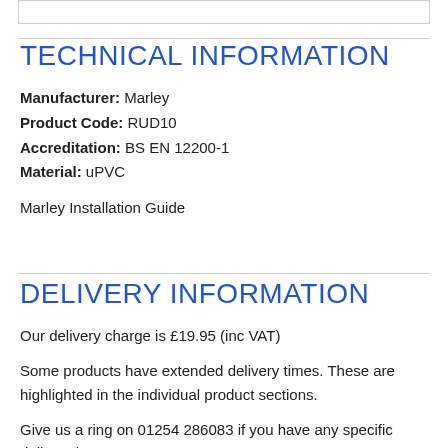TECHNICAL INFORMATION
Manufacturer: Marley
Product Code: RUD10
Accreditation: BS EN 12200-1
Material: uPVC
Marley Installation Guide
DELIVERY INFORMATION
Our delivery charge is £19.95 (inc VAT)
Some products have extended delivery times. These are highlighted in the individual product sections.
Give us a ring on 01254 286083 if you have any specific delivery issues.